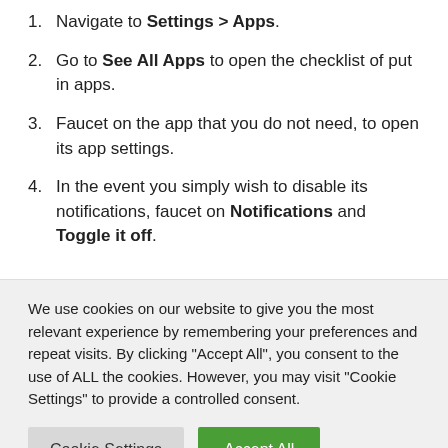Navigate to Settings > Apps.
Go to See All Apps to open the checklist of put in apps.
Faucet on the app that you do not need, to open its app settings.
In the event you simply wish to disable its notifications, faucet on Notifications and Toggle it off.
We use cookies on our website to give you the most relevant experience by remembering your preferences and repeat visits. By clicking "Accept All", you consent to the use of ALL the cookies. However, you may visit "Cookie Settings" to provide a controlled consent.